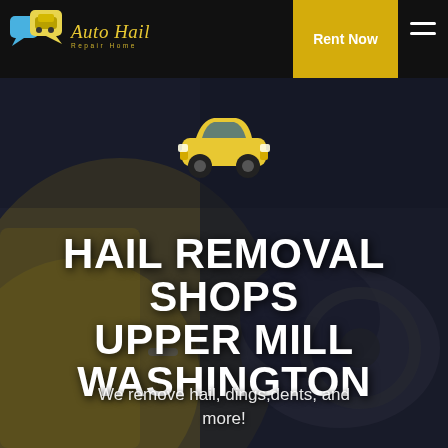Auto Hail Repair Home | Rent Now
[Figure (screenshot): Auto Hail Repair Home website screenshot with logo, Rent Now button, hamburger menu, hero image of a yellow sports car interior with dark overlay, yellow car icon, large white bold text 'HAIL REMOVAL SHOPS UPPER MILL WASHINGTON', and subtitle 'We remove hail, dings, dents, and more!']
HAIL REMOVAL SHOPS UPPER MILL WASHINGTON
We remove hail, dings,dents, and more!